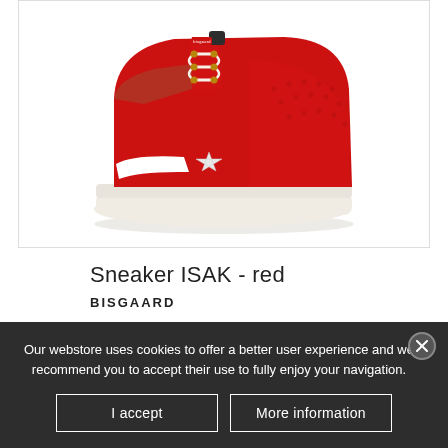[Figure (photo): Red high-top sneaker (Bisgaard ISAK) with white laces, white star logo on side, perforated toe box, and white sole, photographed on white background]
Sneaker ISAK - red
BISGAARD
From €95.00
SHIPPING EXCLUDED
Our webstore uses cookies to offer a better user experience and we recommend you to accept their use to fully enjoy your navigation.
I accept
More information